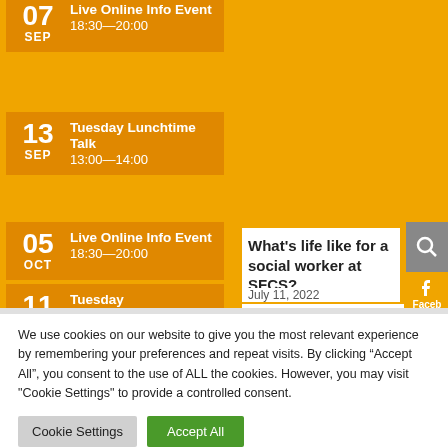07 SEP | Live Online Info Event | 18:30—20:00
13 SEP | Tuesday Lunchtime Talk | 13:00—14:00
05 OCT | Live Online Info Event | 18:30—20:00
11 OCT | Tuesday
What's life like for a social worker at SFCS?
July 11, 2022
We often talk about the
We use cookies on our website to give you the most relevant experience by remembering your preferences and repeat visits. By clicking “Accept All”, you consent to the use of ALL the cookies. However, you may visit "Cookie Settings" to provide a controlled consent.